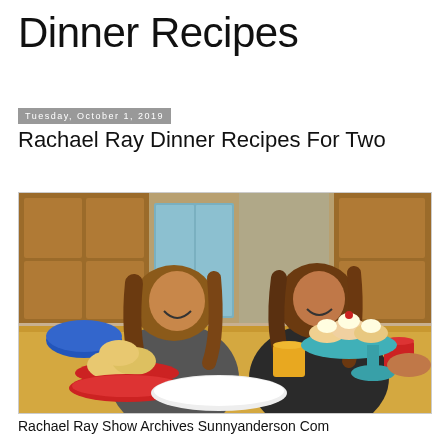Dinner Recipes
Tuesday, October 1, 2019
Rachael Ray Dinner Recipes For Two
[Figure (photo): Two women sitting at a kitchen table laughing, with food items including rolls, pastries on a cake stand, mugs, and a blue bowl on the table.]
Rachael Ray Show Archives Sunnyanderson Com